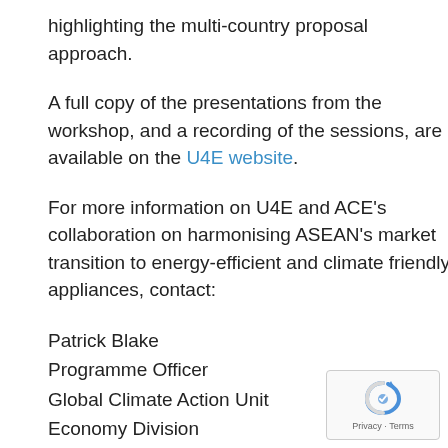highlighting the multi-country proposal approach.
A full copy of the presentations from the workshop, and a recording of the sessions, are available on the U4E website.
For more information on U4E and ACE’s collaboration on harmonising ASEAN’s market transition to energy-efficient and climate friendly appliances, contact:
Patrick Blake
Programme Officer
Global Climate Action Unit
Economy Division
UN Environment Programme
Patrick.Blake@...